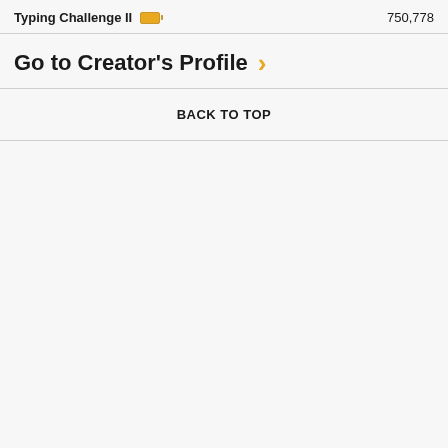Typing Challenge II  750,778
Go to Creator's Profile
BACK TO TOP